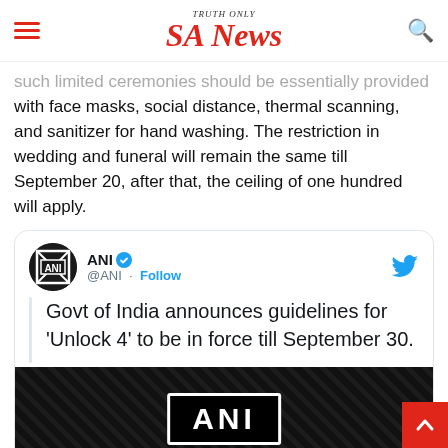SA News — TRUTH ONLY
such limited ceremonies should be essentially provided with face masks, social distance, thermal scanning, and sanitizer for hand washing. The restriction in wedding and funeral will remain the same till September 20, after that, the ceiling of one hundred will apply.
[Figure (screenshot): Embedded tweet from @ANI with verified badge and Twitter bird icon. Tweet text: Govt of India announces guidelines for 'Unlock 4' to be in force till September 30. Includes ANI logo image below the tweet text.]